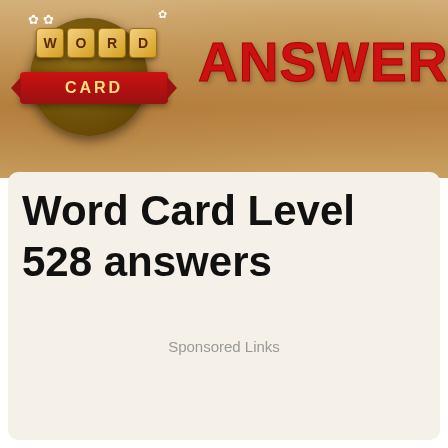[Figure (logo): Word Card game logo with wooden tiles spelling WORD on a dark brown circle, a red ribbon banner with CARD text, and decorative flowers. Next to it, large red bold text reading ANSWERS on a wooden texture background.]
Word Card Level 528 answers
Sponsored Links